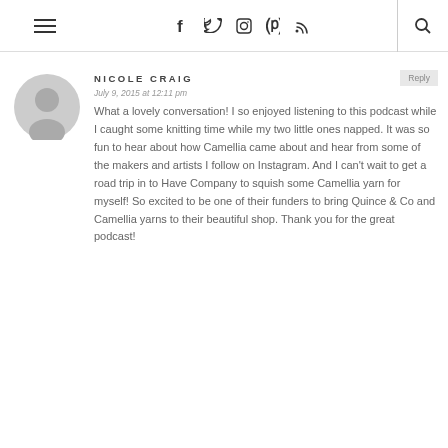≡  f  t  ☷  ℗  ⌘  🔍
NICOLE CRAIG
July 9, 2015 at 12:11 pm
What a lovely conversation! I so enjoyed listening to this podcast while I caught some knitting time while my two little ones napped. It was so fun to hear about how Camellia came about and hear from some of the makers and artists I follow on Instagram. And I can't wait to get a road trip in to Have Company to squish some Camellia yarn for myself! So excited to be one of their funders to bring Quince & Co and Camellia yarns to their beautiful shop. Thank you for the great podcast!